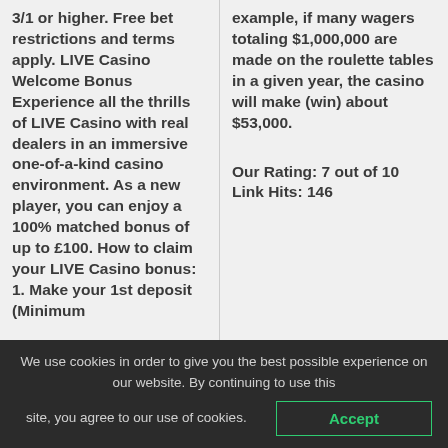3/1 or higher. Free bet restrictions and terms apply. LIVE Casino Welcome Bonus Experience all the thrills of LIVE Casino with real dealers in an immersive one-of-a-kind casino environment. As a new player, you can enjoy a 100% matched bonus of up to £100. How to claim your LIVE Casino bonus: 1. Make your 1st deposit (Minimum
example, if many wagers totaling $1,000,000 are made on the roulette tables in a given year, the casino will make (win) about $53,000.
Our Rating: 7 out of 10
Link Hits: 146
We use cookies in order to give you the best possible experience on our website. By continuing to use this site, you agree to our use of cookies.